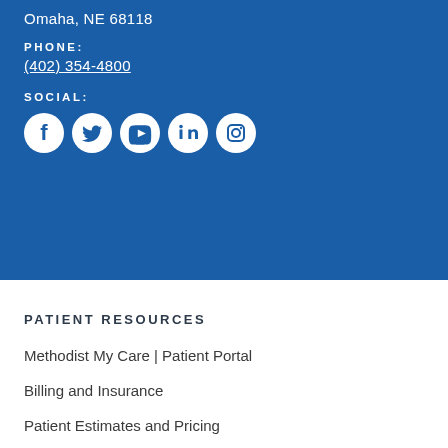Omaha, NE 68118
PHONE:
(402) 354-4800
SOCIAL:
[Figure (illustration): Five social media icons in white circles: Facebook, Twitter, YouTube, LinkedIn, Instagram]
PATIENT RESOURCES
Methodist My Care | Patient Portal
Billing and Insurance
Patient Estimates and Pricing